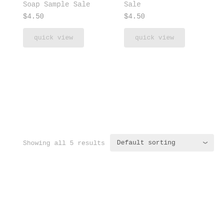Soap Sample Sale
$4.50
Sale
$4.50
quick view
quick view
Showing all 5 results
Default sorting